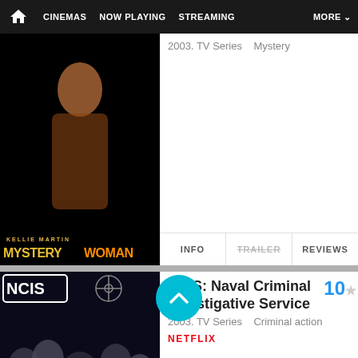CINEMAS | NOW PLAYING | STREAMING | MORE
2003. TV Series   Mystery
INFO | TRAILER | REVIEWS
NCIS: Naval Criminal Investigative Service   10
2003. TV Series   Criminal action
NETFLIX
INFO | TRAILER | REVIEWS
Station 19
2018. TV Series   Action thriller
Disney+ hulu
INFO | TRAILER | REVIEWS
Touched by an Angel   9.2